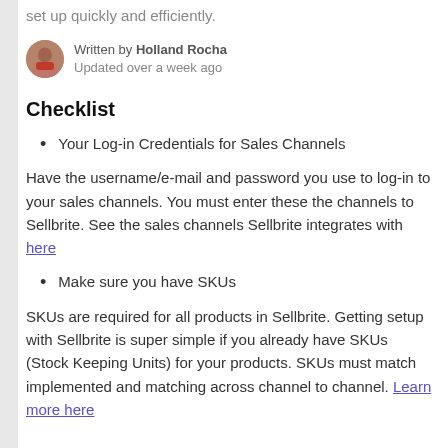set up quickly and efficiently.
Written by Holland Rocha
Updated over a week ago
Checklist
Your Log-in Credentials for Sales Channels
Have the username/e-mail and password you use to log-in to your sales channels. You must enter these the channels to Sellbrite. See the sales channels Sellbrite integrates with here
Make sure you have SKUs
SKUs are required for all products in Sellbrite. Getting setup with Sellbrite is super simple if you already have SKUs (Stock Keeping Units) for your products. SKUs must match implemented and matching across channel to channel. Learn more here